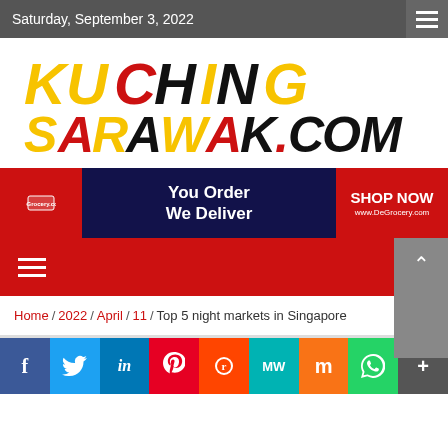Saturday, September 3, 2022
[Figure (logo): KuchingSarawak.com logo in red, yellow and black bold italic text]
[Figure (infographic): DeGrocery.com advertisement banner: 'You Order We Deliver' with SHOP NOW button and www.DeGrocery.com URL]
[Figure (infographic): Red navigation bar with hamburger menu icon on left and search icon on right]
Home / 2022 / April / 11 / Top 5 night markets in Singapore
[Figure (infographic): Social media sharing bar with Facebook, Twitter, LinkedIn, Pinterest, Reddit, MeWe, Mix, WhatsApp, and More buttons]